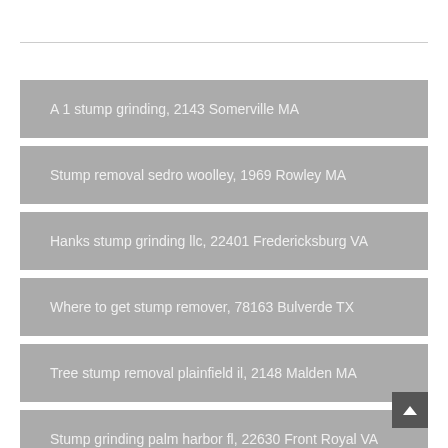A 1 stump grinding, 2143 Somerville MA
Stump removal sedro woolley, 1969 Rowley MA
Hanks stump grinding llc, 22401 Fredericksburg VA
Where to get stump remover, 78163 Bulverde TX
Tree stump removal plainfield il, 2148 Malden MA
Stump grinding palm harbor fl, 22630 Front Royal VA
Tree removal west chester ohio, 22201 Arlington VA